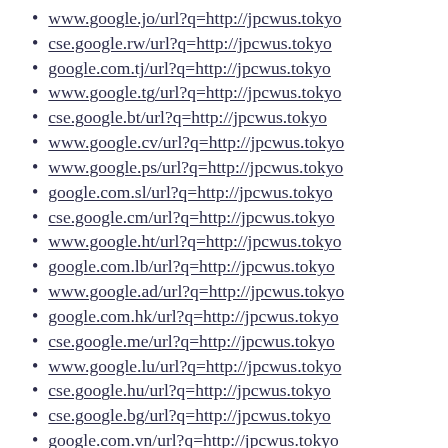www.google.jo/url?q=http://jpcwus.tokyo
cse.google.rw/url?q=http://jpcwus.tokyo
google.com.tj/url?q=http://jpcwus.tokyo
www.google.tg/url?q=http://jpcwus.tokyo
cse.google.bt/url?q=http://jpcwus.tokyo
www.google.cv/url?q=http://jpcwus.tokyo
www.google.ps/url?q=http://jpcwus.tokyo
google.com.sl/url?q=http://jpcwus.tokyo
cse.google.cm/url?q=http://jpcwus.tokyo
www.google.ht/url?q=http://jpcwus.tokyo
google.com.lb/url?q=http://jpcwus.tokyo
www.google.ad/url?q=http://jpcwus.tokyo
google.com.hk/url?q=http://jpcwus.tokyo
cse.google.me/url?q=http://jpcwus.tokyo
www.google.lu/url?q=http://jpcwus.tokyo
cse.google.hu/url?q=http://jpcwus.tokyo
cse.google.bg/url?q=http://jpcwus.tokyo
google.com.vn/url?q=http://jpcwus.tokyo
cse.google.kg/url?q=http://jpcwus.tokyo